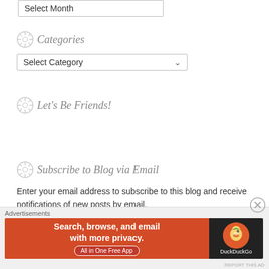[Figure (screenshot): Partial 'Select Month' dropdown input box at top of page]
Categories
[Figure (screenshot): Select Category dropdown box]
Let's Be Friends!
Subscribe to Blog via Email
Enter your email address to subscribe to this blog and receive notifications of new posts by email.
[Figure (screenshot): Email input text box (partially visible)]
[Figure (advertisement): DuckDuckGo advertisement banner: Search, browse, and email with more privacy. All in One Free App.]